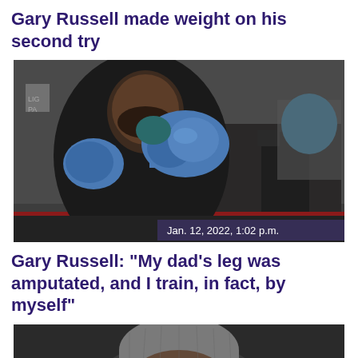Gary Russell made weight on his second try
[Figure (photo): Boxer Gary Russell Jr. in a black jacket wearing blue boxing gloves in a boxing gym, with people in background taking photos. Timestamp overlay: Jan. 12, 2022, 1:02 p.m.]
Gary Russell: "My dad's leg was amputated, and I train, in fact, by myself"
[Figure (photo): Close-up of a person wearing a grey beanie hat, partially visible at bottom of page.]